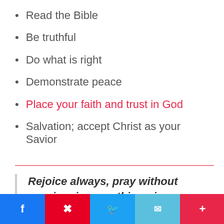Read the Bible
Be truthful
Do what is right
Demonstrate peace
Place your faith and trust in God
Salvation; accept Christ as your Savior
Rejoice always, pray without ceasing, in everything give
< 22 SHARES